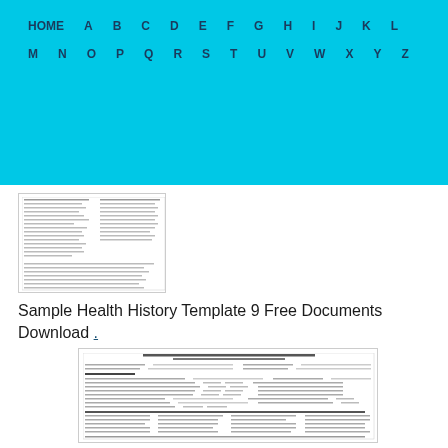HOME  A  B  C  D  E  F  G  H  I  J  K  L  M  N  O  P  Q  R  S  T  U  V  W  X  Y  Z
[Figure (screenshot): Thumbnail preview of a health history form document showing patient history fields and checkboxes]
Sample Health History Template 9 Free Documents Download .
[Figure (screenshot): Preview of NOVA Southeastern University Health Care Center Patient History Form with fields for patient name, social security number, past medical history, TB screening, and checklist of medical conditions]